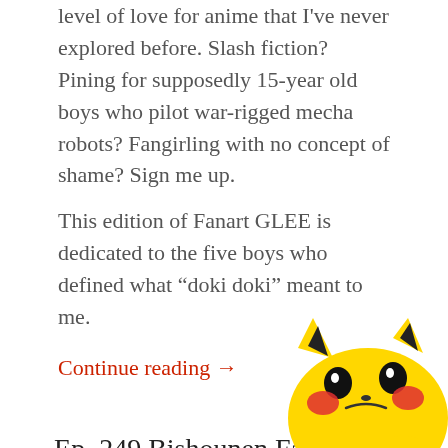level of love for anime that I've never explored before. Slash fiction? Pining for supposedly 15-year old boys who pilot war-rigged mecha robots? Fangirling with no concept of shame? Sign me up.
This edition of Fanart GLEE is dedicated to the five boys who defined what “doki doki” meant to me.
Continue reading →
Ep. 249 Bishounen Face Hugs
JULY 8, 2015 • 0 COMMENTS • 1 MIN READ • PODCAST
[Figure (illustration): Partial image of a Pikachu plush or figure, showing yellow body, large eyes, and red cheeks, visible in the bottom-right corner of the page.]